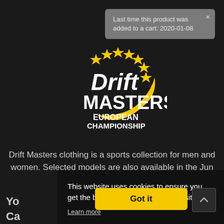Last time this product was added to a cart: 2020-01-08
[Figure (logo): Drift Masters European Championship logo: circular design with gold stars, white bold text 'Drift MASTERS EUROPEAN CHAMPIONSHIP' and a gold swoosh]
Drift Masters clothing is a sports collection for men and women. Selected models are also available in the Jun outf
Yo
Ca
This website uses cookies to ensure you get the best experience on our website.
Learn more
Got it